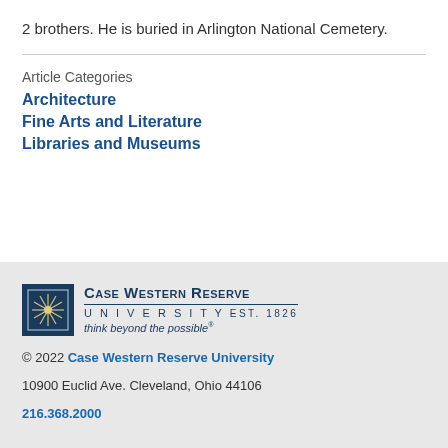2 brothers. He is buried in Arlington National Cemetery.
Article Categories
Architecture
Fine Arts and Literature
Libraries and Museums
[Figure (logo): Case Western Reserve University logo with sunburst graphic, university name, EST. 1826, and tagline 'think beyond the possible']
© 2022 Case Western Reserve University
10900 Euclid Ave. Cleveland, Ohio 44106
216.368.2000